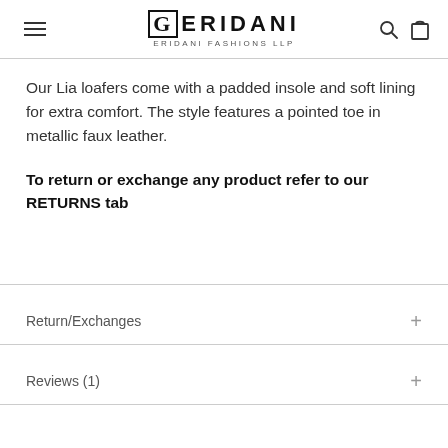ERIDANI FASHIONS LLP
Our Lia loafers come with a padded insole and soft lining for extra comfort. The style features a pointed toe in metallic faux leather.
To return or exchange any product refer to our RETURNS tab
Return/Exchanges
Reviews (1)